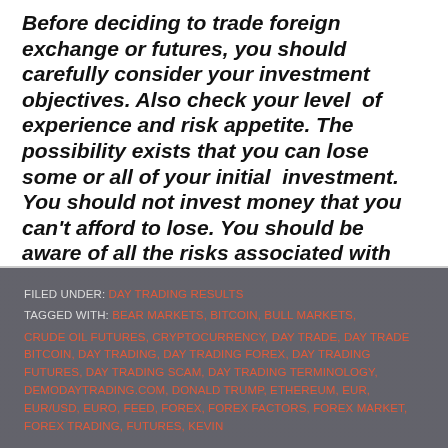Before deciding to trade foreign exchange or futures, you should carefully consider your investment objectives. Also check your level of experience and risk appetite. The possibility exists that you can lose some or all of your initial investment. You should not invest money that you can't afford to lose. You should be aware of all the risks associated with foreign exchange and futures trading. Seek advice from an independent financial adviser if you have any doubts or questions. Past trading history does not indicate future trading success."
FILED UNDER: DAY TRADING RESULTS
TAGGED WITH: BEAR MARKETS, BITCOIN, BULL MARKETS, CRUDE OIL FUTURES, CRYPTOCURRENCY, DAY TRADE, DAY TRADE BITCOIN, DAY TRADING, DAY TRADING FOREX, DAY TRADING FUTURES, DAY TRADING SCAM, DAY TRADING TERMINOLOGY, DEMODAYTRADING.COM, DONALD TRUMP, ETHEREUM, EUR, EUR/USD, EURO, FEED, FOREX, FOREX FACTORS, FOREX MARKET, FOREX TRADING, FUTURES, KEVIN